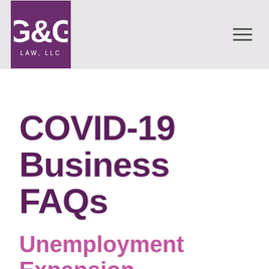[Figure (logo): G&G Law, LLC logo — white text on purple square background with 'G&G' large and 'LAW, LLC' below]
COVID-19 Business FAQs
Unemployment Expansion